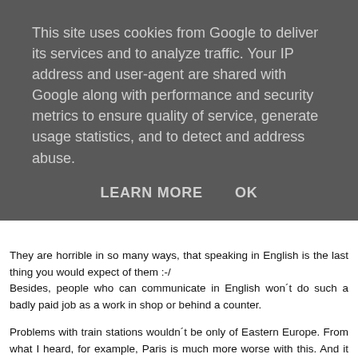This site uses cookies from Google to deliver its services and to analyze traffic. Your IP address and user-agent are shared with Google along with performance and security metrics to ensure quality of service, generate usage statistics, and to detect and address abuse.
LEARN MORE    OK
They are horrible in so many ways, that speaking in English is the last thing you would expect of them :-/ Besides, people who can communicate in English won´t do such a badly paid job as a work in shop or behind a counter.
Problems with train stations wouldn´t be only of Eastern Europe. From what I heard, for example, Paris is much more worse with this. And it won´t take long time and there would be a new train station in Brno.
I think Brno is not ready to welcome a world yet, but there are many changes last days... However, Brno´s inhabitants have never felt a need to become worldly, they love their city and don´t want to